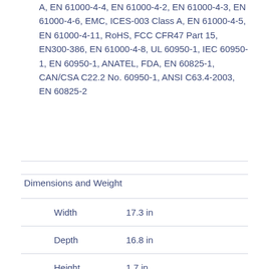A, EN 61000-4-4, EN 61000-4-2, EN 61000-4-3, EN 61000-4-6, EMC, ICES-003 Class A, EN 61000-4-5, EN 61000-4-11, RoHS, FCC CFR47 Part 15, EN300-386, EN 61000-4-8, UL 60950-1, IEC 60950-1, EN 60950-1, ANATEL, FDA, EN 60825-1, CAN/CSA C22.2 No. 60950-1, ANSI C63.4-2003, EN 60825-2
Dimensions and Weight
|  |  |
| --- | --- |
| Width | 17.3 in |
| Depth | 16.8 in |
| Height | 1.7 in |